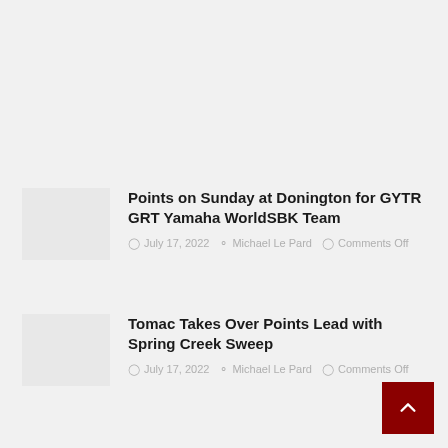[Figure (photo): Thumbnail placeholder image for article 1]
Points on Sunday at Donington for GYTR GRT Yamaha WorldSBK Team
July 17, 2022  Michael Le Pard  Comments Off
[Figure (photo): Thumbnail placeholder image for article 2]
Tomac Takes Over Points Lead with Spring Creek Sweep
July 17, 2022  Michael Le Pard  Comments Off